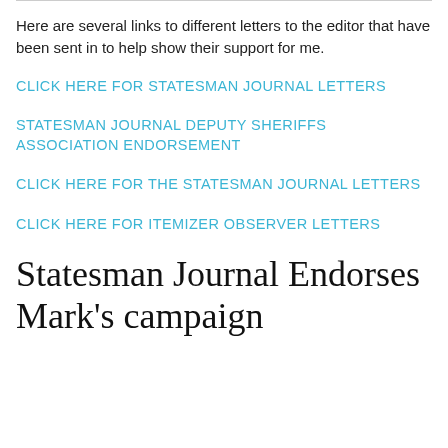Here are several links to different letters to the editor that have been sent in to help show their support for me.
CLICK HERE FOR STATESMAN JOURNAL LETTERS
STATESMAN JOURNAL DEPUTY SHERIFFS ASSOCIATION ENDORSEMENT
CLICK HERE FOR THE STATESMAN JOURNAL LETTERS
CLICK HERE FOR ITEMIZER OBSERVER LETTERS
Statesman Journal Endorses Mark's campaign